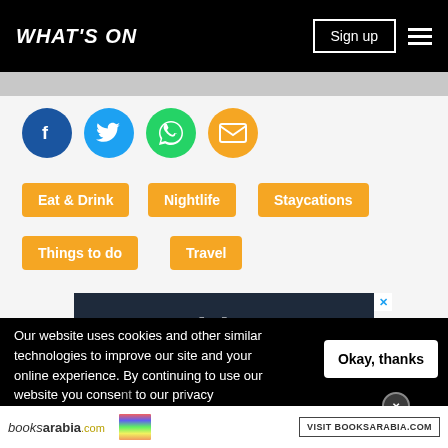WHAT'S ON | Sign up
[Figure (infographic): Social media share icons: Facebook (blue circle), Twitter (light blue circle), WhatsApp (green circle), Email (orange circle)]
Eat & Drink
Nightlife
Staycations
Things to do
Travel
[Figure (screenshot): Advertisement banner with dark blue background showing large Arabic text (meenatk) in white with decorative square brackets]
Our website uses cookies and other similar technologies to improve our site and your online experience. By continuing to use our website you consent to our use of cookies and our privacy policy.
[Figure (screenshot): BooksArabia.com advertisement with logo, book stack image, and VISIT BOOKSARABIA.COM button]